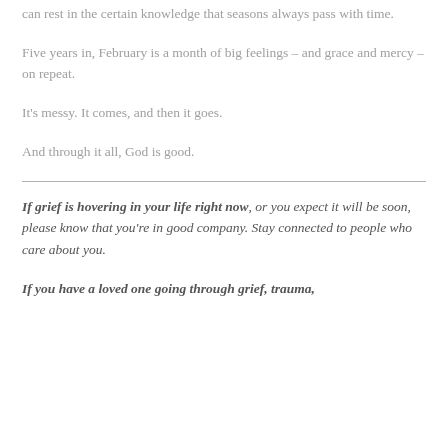can rest in the certain knowledge that seasons always pass with time.
Five years in, February is a month of big feelings – and grace and mercy – on repeat.
It's messy. It comes, and then it goes.
And through it all, God is good.
If grief is hovering in your life right now, or you expect it will be soon, please know that you're in good company. Stay connected to people who care about you.
If you have a loved one going through grief, trauma,